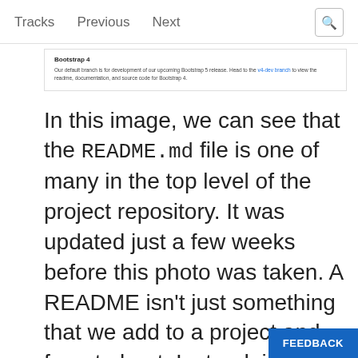Tracks   Previous   Next
[Figure (screenshot): Screenshot of a GitHub repository page showing Bootstrap 4 README. Title says 'Bootstrap 4' and text reads: 'Our default branch is for development of our upcoming Bootstrap 5 release. Head to the v4-dev branch to view the readme, documentation, and source code for Bootstrap 4.']
In this image, we can see that the README.md file is one of many in the top level of the project repository. It was updated just a few weeks before this photo was taken. A README isn't just something that we add to a project and forget about. Instead, it's a living document that often changes as the project changes. We can also see that the README is automatically rendered beneath the file directory. GitHub will take care of this fo...